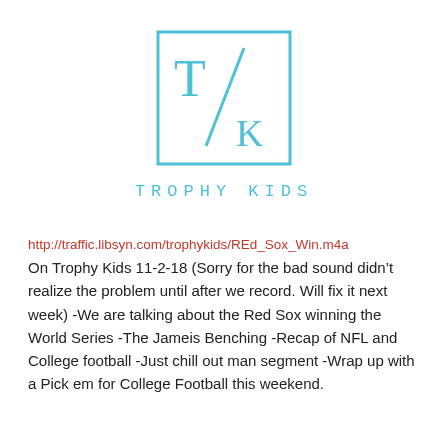[Figure (logo): Trophy Kids logo: a square border in light blue containing a large T in the upper left, a diagonal slash, and a K in the lower right, all in light blue serif/slab font.]
TROPHY KIDS
http://traffic.libsyn.com/trophykids/REd_Sox_Win.m4a
On Trophy Kids 11-2-18 (Sorry for the bad sound didn’t realize the problem until after we record. Will fix it next week) -We are talking about the Red Sox winning the World Series -The Jameis Benching -Recap of NFL and College football -Just chill out man segment -Wrap up with a Pick em for College Football this weekend.